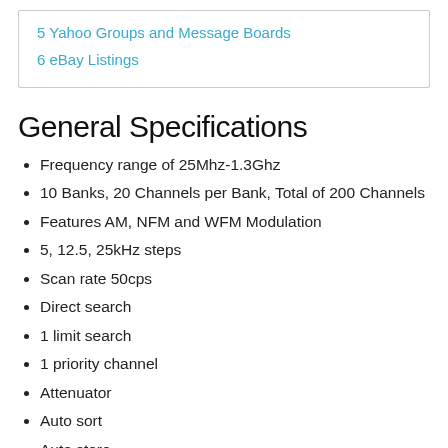5 Yahoo Groups and Message Boards
6 eBay Listings
General Specifications
Frequency range of 25Mhz-1.3Ghz
10 Banks, 20 Channels per Bank, Total of 200 Channels
Features AM, NFM and WFM Modulation
5, 12.5, 25kHz steps
Scan rate 50cps
Direct search
1 limit search
1 priority channel
Attenuator
Auto sort
Auto store